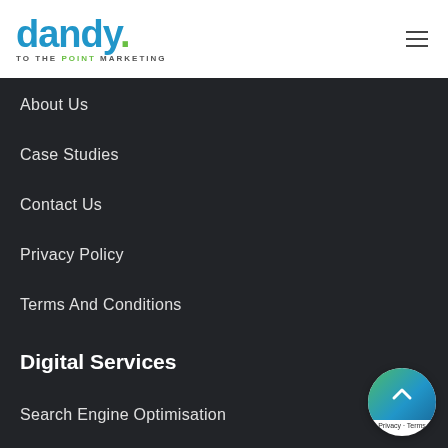[Figure (logo): Dandy. To The Point Marketing logo with blue text and green dot]
About Us
Case Studies
Contact Us
Privacy Policy
Terms And Conditions
Digital Services
Search Engine Optimisation
[Figure (illustration): Circular scroll-to-top button with green/blue gradient and upward chevron arrow, with Privacy and Terms labels below]